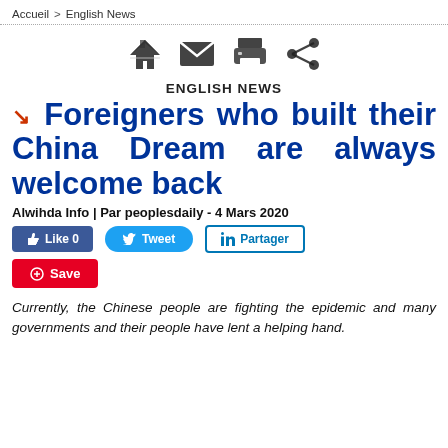Accueil > English News
[Figure (infographic): Row of web icons: home, email, print, share]
ENGLISH NEWS
Foreigners who built their China Dream are always welcome back
Alwihda Info | Par peoplesdaily - 4 Mars 2020
[Figure (infographic): Social media buttons: Like 0, Tweet, Partager (LinkedIn), Save (Pinterest)]
Currently, the Chinese people are fighting the epidemic and many governments and their people have lent a helping hand.